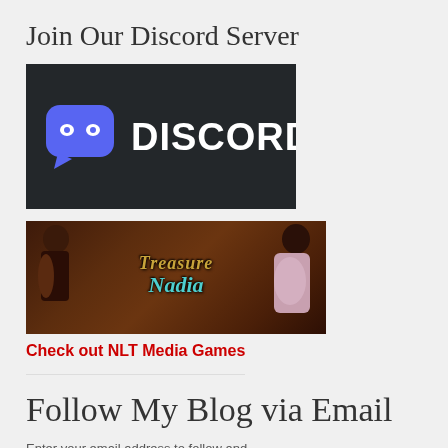Join Our Discord Server
[Figure (logo): Discord logo banner: dark background with purple Discord speech bubble icon and white DISCORD wordmark]
[Figure (illustration): Treasure of Nadia game banner: dark wood background with two female characters and stylized teal/gold title text 'Treasure of Nadia']
Check out NLT Media Games
Follow My Blog via Email
Enter your email address to follow and...